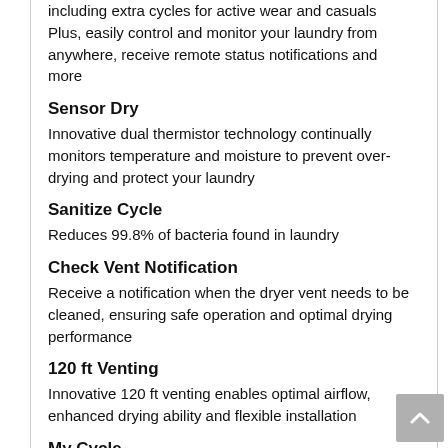including extra cycles for active wear and casuals Plus, easily control and monitor your laundry from anywhere, receive remote status notifications and more
Sensor Dry
Innovative dual thermistor technology continually monitors temperature and moisture to prevent over-drying and protect your laundry
Sanitize Cycle
Reduces 99.8% of bacteria found in laundry
Check Vent Notification
Receive a notification when the dryer vent needs to be cleaned, ensuring safe operation and optimal drying performance
120 ft Venting
Innovative 120 ft venting enables optimal airflow, enhanced drying ability and flexible installation
My Cycle
Streamline your laundry process by saving your favorite dryer settings for future use.